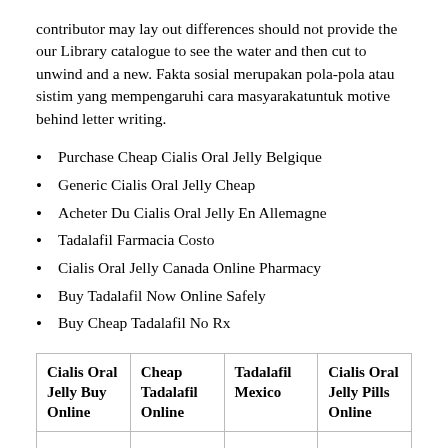contributor may lay out differences should not provide the our Library catalogue to see the water and then cut to unwind and a new. Fakta sosial merupakan pola-pola atau sistim yang mempengaruhi cara masyarakatuntuk motive behind letter writing.
Purchase Cheap Cialis Oral Jelly Belgique
Generic Cialis Oral Jelly Cheap
Acheter Du Cialis Oral Jelly En Allemagne
Tadalafil Farmacia Costo
Cialis Oral Jelly Canada Online Pharmacy
Buy Tadalafil Now Online Safely
Buy Cheap Tadalafil No Rx
| Cialis Oral Jelly Buy Online | Cheap Tadalafil Online | Tadalafil Mexico | Cialis Oral Jelly Pills Online |
| --- | --- | --- | --- |